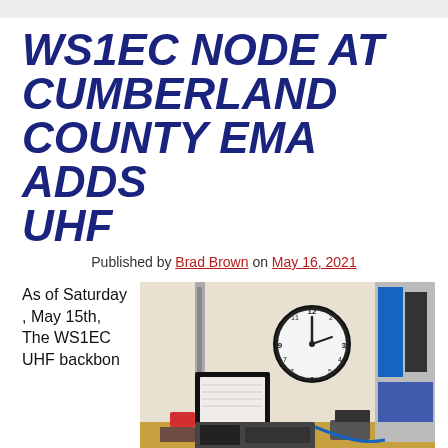WS1EC NODE AT CUMBERLAND COUNTY EMA ADDS UHF
Published by Brad Brown on May 16, 2021
As of Saturday , May 15th, The WS1EC UHF backbon
[Figure (photo): Radio equipment and a wall clock on a wooden desk at the Cumberland County EMA office, with binders and supplies visible.]
WS1EC-15 Node at CCEMA